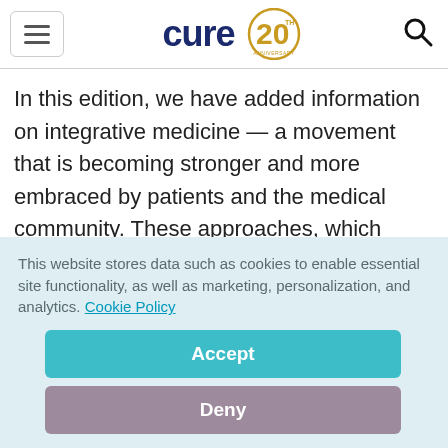[Figure (logo): CURE 20th Anniversary logo with navy blue 'cure' text and gold '20' with 'TH ANNIVERSARY' circle]
In this edition, we have added information on integrative medicine — a movement that is becoming stronger and more embraced by patients and the medical community. These approaches, which include acupuncture, yoga and meditation, are being studied with more rigor and offered in coordination with other medical care.
This website stores data such as cookies to enable essential site functionality, as well as marketing, personalization, and analytics. Cookie Policy
Accept
Deny